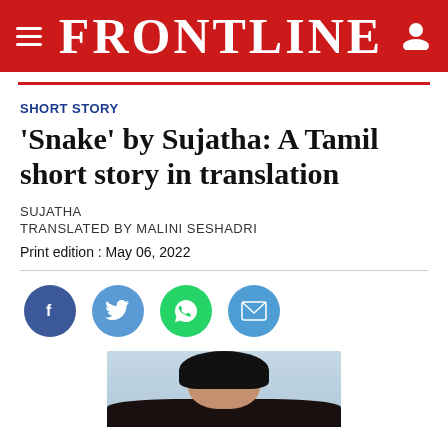FRONTLINE
SHORT STORY
'Snake' by Sujatha: A Tamil short story in translation
SUJATHA
TRANSLATED BY MALINI SESHADRI
Print edition : May 06, 2022
[Figure (infographic): Social sharing icons: Facebook (dark blue circle with 'f'), Twitter (blue circle with bird icon), WhatsApp (green circle with phone icon), Email (blue circle with envelope icon)]
[Figure (photo): Partial photo of a person with dark hair, visible from top of head, light blue/grey background]